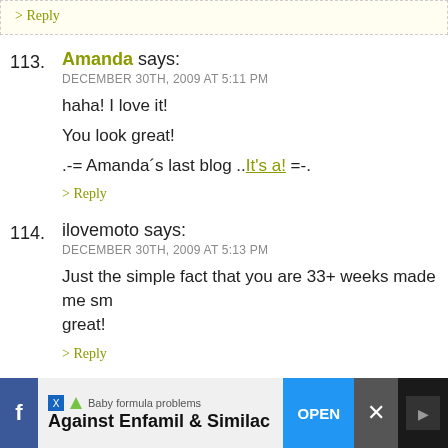> Reply
113. Amanda says: DECEMBER 30TH, 2009 AT 5:11 PM
haha! I love it!
You look great!
.-= Amanda´s last blog ..It’s a! =-.
> Reply
114. ilovemoto says: DECEMBER 30TH, 2009 AT 5:13 PM
Just the simple fact that you are 33+ weeks made me sm great!
> Reply
115. Aunt Becky says: DECEMBER 30TH, 2009 AT 5:31 PM
Baby formula problems Against Enfamil & Similac OPEN